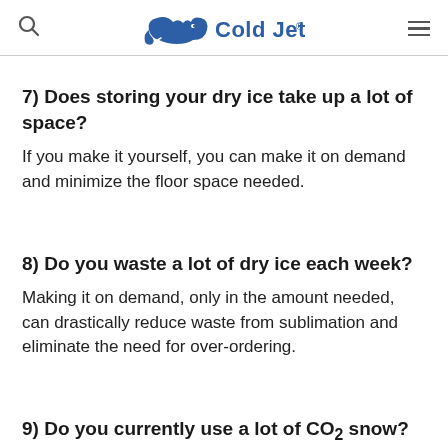Cold Jet
7) Does storing your dry ice take up a lot of space?
If you make it yourself, you can make it on demand and minimize the floor space needed.
8) Do you waste a lot of dry ice each week?
Making it on demand, only in the amount needed, can drastically reduce waste from sublimation and eliminate the need for over-ordering.
9) Do you currently use a lot of CO₂ snow?